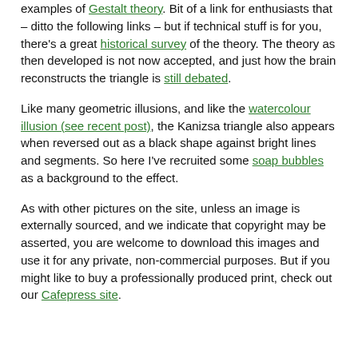examples of Gestalt theory.  Bit of a link for enthusiasts that – ditto the following links – but if technical stuff is for you, there's a great historical survey of the theory.  The theory as then developed is not now accepted, and just how the brain reconstructs the triangle is still debated.
Like many geometric illusions, and like the watercolour illusion (see recent post), the Kanizsa triangle also appears when reversed out as a black shape against bright lines and segments.  So here I've recruited some soap bubbles as a background to the effect.
As with other pictures on the site, unless an image is externally sourced, and we indicate that copyright may be asserted, you are welcome to download this images and use it for any private, non-commercial purposes.  But if you might like to buy a professionally produced print, check out our Cafepress site.